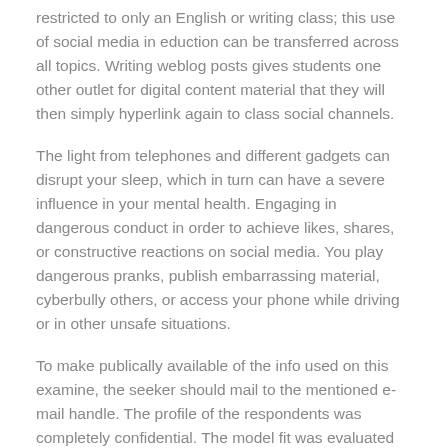restricted to only an English or writing class; this use of social media in eduction can be transferred across all topics. Writing weblog posts gives students one other outlet for digital content material that they will then simply hyperlink again to class social channels.
The light from telephones and different gadgets can disrupt your sleep, which in turn can have a severe influence in your mental health. Engaging in dangerous conduct in order to achieve likes, shares, or constructive reactions on social media. You play dangerous pranks, publish embarrassing material, cyberbully others, or access your phone while driving or in other unsafe situations.
To make publically available of the info used on this examine, the seeker should mail to the mentioned e-mail handle. The profile of the respondents was completely confidential. The model fit was evaluated by way of the Chi-Square/degree of freedom (CMIN/DF), Root Mean Residual , Root Mean Square Error of Approximation, Comparative Fit Index, and Goodness